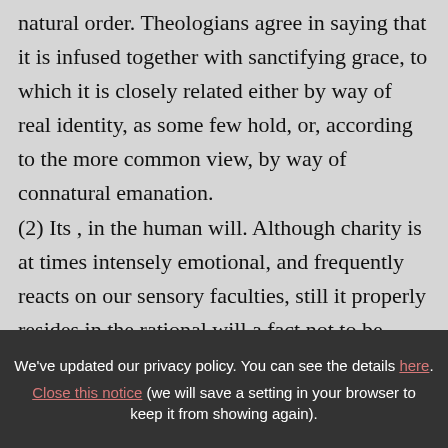natural order. Theologians agree in saying that it is infused together with sanctifying grace, to which it is closely related either by way of real identity, as some few hold, or, according to the more common view, by way of connatural emanation.

(2) Its , in the human will. Although charity is at times intensely emotional, and frequently reacts on our sensory faculties, still it properly resides in the rational will a fact not to be
We've updated our privacy policy. You can see the details here. Close this notice (we will save a setting in your browser to keep it from showing again).